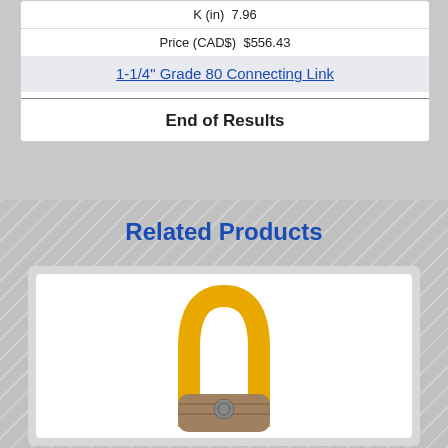| K (in) | 7.96 |
| Price (CAD$) | $556.43 |
1-1/4" Grade 80 Connecting Link
End of Results
Related Products
[Figure (photo): Yellow swivel hoist ring / D-ring lifting attachment with a metal pin/bolt, industrial rigging hardware]